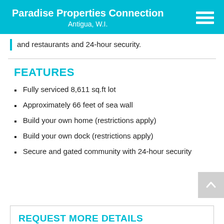Paradise Properties Connection
Antigua, W.I.
and restaurants and 24-hour security.
FEATURES
Fully serviced 8,611 sq.ft lot
Approximately 66 feet of sea wall
Build your own home (restrictions apply)
Build your own dock (restrictions apply)
Secure and gated community with 24-hour security
REQUEST MORE DETAILS